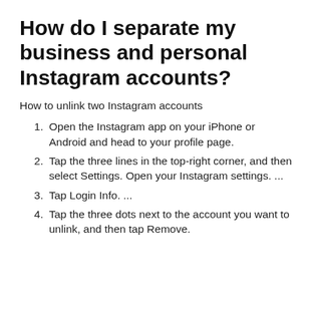How do I separate my business and personal Instagram accounts?
How to unlink two Instagram accounts
Open the Instagram app on your iPhone or Android and head to your profile page.
Tap the three lines in the top-right corner, and then select Settings. Open your Instagram settings. ...
Tap Login Info. ...
Tap the three dots next to the account you want to unlink, and then tap Remove.